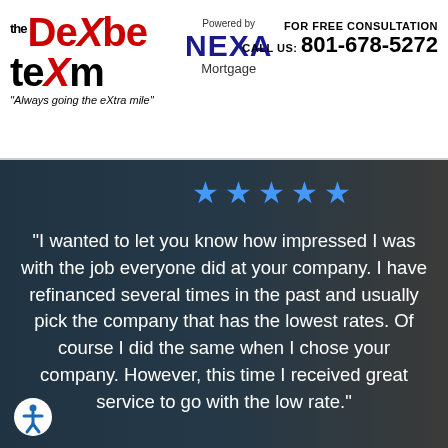[Figure (logo): The DexXbe teXm logo with red and black letters, tagline 'Always going the eXtra mile', and Powered by NEXA Mortgage]
FOR FREE CONSULTATION
CALL US: 801-678-5272
[Figure (photo): Dark teal overlay background with people in a meeting/office setting, 5 blue stars rating]
"I wanted to let you know how impressed I was with the job everyone did at your company. I have refinanced several times in the past and usually pick the company that has the lowest rates. Of course I did the same when I chose your company. However, this time I received great service to go with the low rate."